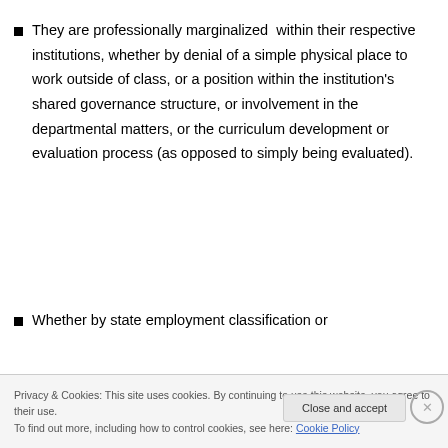They are professionally marginalized within their respective institutions, whether by denial of a simple physical place to work outside of class, or a position within the institution's shared governance structure, or involvement in the departmental matters, or the curriculum development or evaluation process (as opposed to simply being evaluated).
Whether by state employment classification or
Privacy & Cookies: This site uses cookies. By continuing to use this website, you agree to their use.
To find out more, including how to control cookies, see here: Cookie Policy